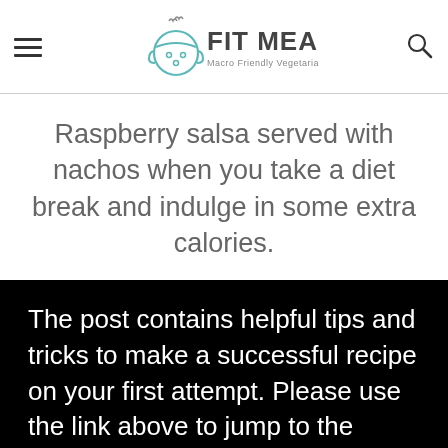FIT MEAL IDEAS — Macro Friendly Vegetarian Daily Meals
Raspberry salsa served with nachos when you take a diet break and indulge in some extra calories.
The post contains helpful tips and tricks to make a successful recipe on your first attempt. Please use the link above to jump to the recipe card at the